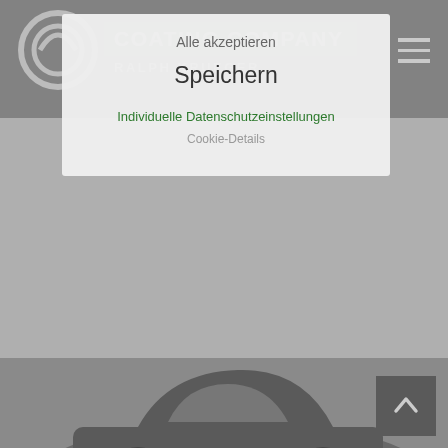[Figure (screenshot): Coating Company Ralph Krueger website screenshot with cookie consent modal overlay showing Alle akzeptieren, Speichern, Individuelle Datenschutzeinstellungen, and Cookie-Details options. Background shows car and RV/motorhome vehicle icons on grey background.]
COATING COMPANY RALPH KRUEGER
Alle akzeptieren
Speichern
Individuelle Datenschutzeinstellungen
Cookie-Details